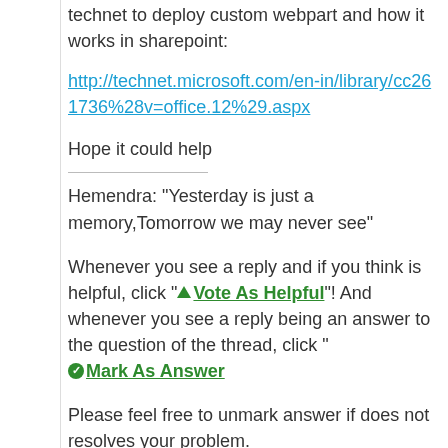technet to deploy custom webpart and how it works in sharepoint:
http://technet.microsoft.com/en-in/library/cc261736%28v=office.12%29.aspx
Hope it could help
Hemendra: "Yesterday is just a memory,Tomorrow we may never see"
Whenever you see a reply and if you think is helpful, click "▲ Vote As Helpful"! And whenever you see a reply being an answer to the question of the thread, click " ✓ Mark As Answer
Please feel free to unmark answer if does not resolves your problem.